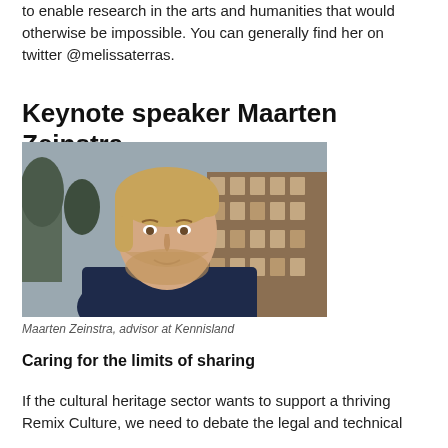to enable research in the arts and humanities that would otherwise be impossible. You can generally find her on twitter @melissaterras.
Keynote speaker Maarten Zeinstra
[Figure (photo): Portrait photo of Maarten Zeinstra, a young man with medium-length brownish-blonde hair and a beard, wearing a dark navy t-shirt, photographed outdoors with Amsterdam canal buildings in the background.]
Maarten Zeinstra, advisor at Kennisland
Caring for the limits of sharing
If the cultural heritage sector wants to support a thriving Remix Culture, we need to debate the legal and technical